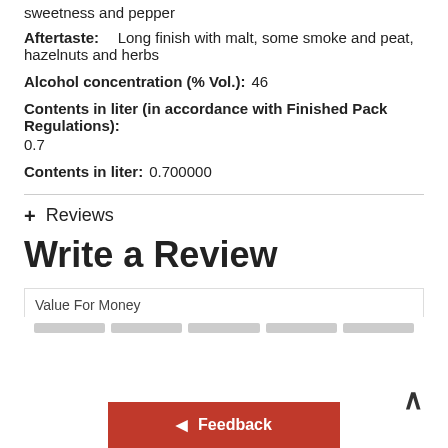sweetness and pepper
Aftertaste: Long finish with malt, some smoke and peat, hazelnuts and herbs
Alcohol concentration (% Vol.): 46
Contents in liter (in accordance with Finished Pack Regulations): 0.7
Contents in liter: 0.700000
+ Reviews
Write a Review
Value For Money